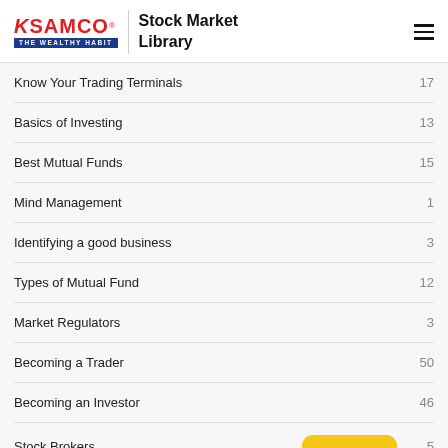SAMCO THE WEALTHY HABIT | Stock Market Library
Know Your Trading Terminals  17
Basics of Investing  13
Best Mutual Funds  15
Mind Management  1
Identifying a good business  3
Types of Mutual Fund  12
Market Regulators  3
Becoming a Trader  50
Becoming an Investor  46
Stock Brokers  5